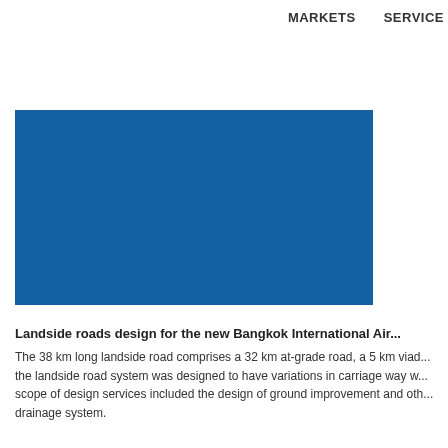MARKETS    SERVICE
[Figure (photo): Blue rectangle representing an image placeholder for the Bangkok International Airport landside roads project]
Landside roads design for the new Bangkok International Air...
The 38 km long landside road comprises a 32 km at-grade road, a 5 km viad... the landside road system was designed to have variations in carriage way w... scope of design services included the design of ground improvement and oth... drainage system.